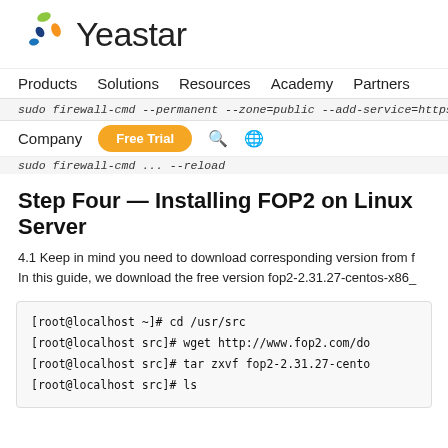[Figure (logo): Yeastar logo with colorful dots and wordmark]
Products   Solutions   Resources   Academy   Partners
sudo firewall-cmd --permanent --zone=public --add-service=https
Company   Free Trial   (search icon)   (globe icon)
sudo firewall-cmd ... --reload
Step Four — Installing FOP2 on Linux Server
4.1 Keep in mind you need to download corresponding version from f
In this guide, we download the free version fop2-2.31.27-centos-x86_
[root@localhost ~]# cd /usr/src
[root@localhost src]# wget http://www.fop2.com/do
[root@localhost src]# tar zxvf fop2-2.31.27-cento
[root@localhost src]# ls